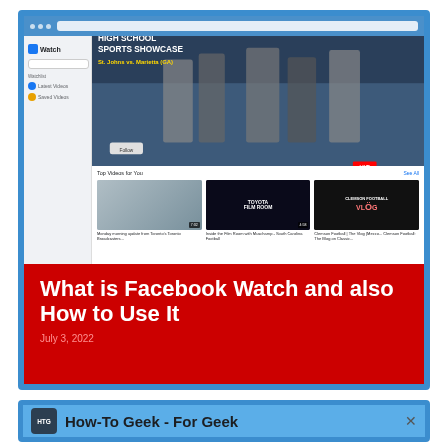[Figure (screenshot): Screenshot of Facebook Watch page showing High School Sports Showcase video, with sidebar navigation and video thumbnails grid below. Overlaid with red banner containing article title.]
What is Facebook Watch and also How to Use It
July 3, 2022
[Figure (screenshot): Partial screenshot of How-To Geek website browser tab showing HTG logo and 'How-To Geek - For Geek' text with X close button]